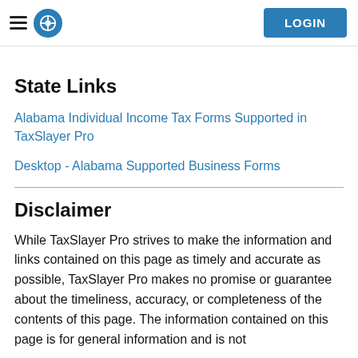LOGIN
State Links
Alabama Individual Income Tax Forms Supported in TaxSlayer Pro
Desktop - Alabama Supported Business Forms
Disclaimer
While TaxSlayer Pro strives to make the information and links contained on this page as timely and accurate as possible, TaxSlayer Pro makes no promise or guarantee about the timeliness, accuracy, or completeness of the contents of this page. The information contained on this page is for general information and is not